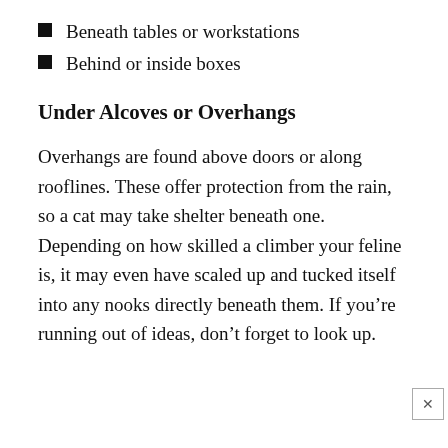Beneath tables or workstations
Behind or inside boxes
Under Alcoves or Overhangs
Overhangs are found above doors or along rooflines. These offer protection from the rain, so a cat may take shelter beneath one. Depending on how skilled a climber your feline is, it may even have scaled up and tucked itself into any nooks directly beneath them. If you’re running out of ideas, don’t forget to look up.